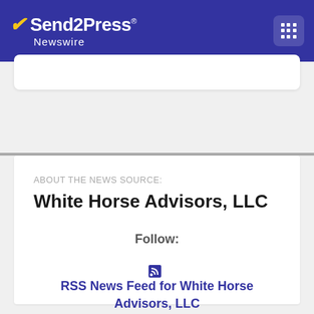[Figure (logo): Send2Press Newswire logo in white on blue header bar]
ABOUT THE NEWS SOURCE:
White Horse Advisors, LLC
Follow:
RSS News Feed for White Horse Advisors, LLC